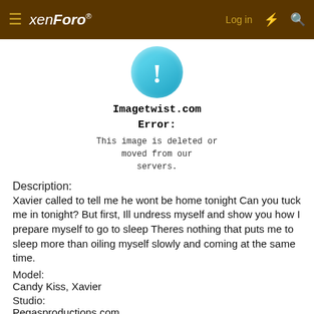xenForo® Log in
[Figure (illustration): Blue circle with white exclamation mark icon, representing an image error]
Imagetwist.com Error:
This image is deleted or moved from our servers.
Description:
Xavier called to tell me he wont be home tonight Can you tuck me in tonight? But first, Ill undress myself and show you how I prepare myself to go to sleep Theres nothing that puts me to sleep more than oiling myself slowly and coming at the same time.
Model:
Candy Kiss, Xavier
Studio:
Pegasproductions.com
Info: